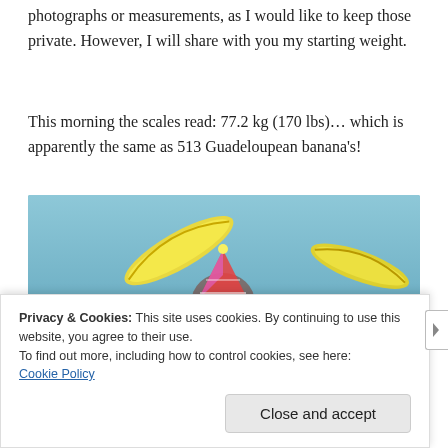photographs or measurements, as I would like to keep those private. However, I will share with you my starting weight.
This morning the scales read: 77.2 kg (170 lbs)… which is apparently the same as 513 Guadeloupean banana's!
[Figure (photo): A monkey wearing a party hat looking upward, surrounded by yellow bananas, against a blue sky background.]
Privacy & Cookies: This site uses cookies. By continuing to use this website, you agree to their use.
To find out more, including how to control cookies, see here:
Cookie Policy
Close and accept